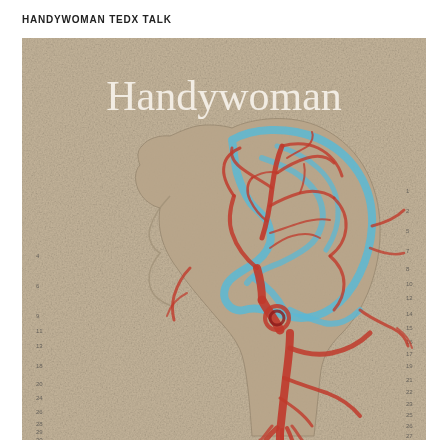HANDYWOMAN TEDX TALK
[Figure (illustration): Cover image of the book 'Handywoman' showing an embroidered anatomical side-profile of a human head with intricate red and blue thread depicting blood vessels and brain structures on a beige linen background. The word 'Handywoman' is displayed in large white serif font at the top of the image. Numbered grid markers line the left and right edges of the illustration.]